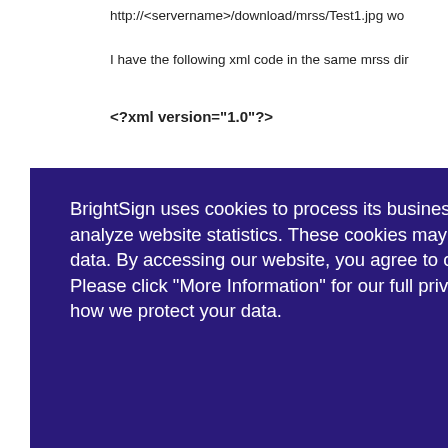http://<servername>/download/mrss/Test1.jpg wo
I have the following xml code in the same mrss dir
<?xml version="1.0"?>
[Figure (screenshot): Cookie consent overlay with dark purple background showing BrightSign cookie policy text, a 'More Information' button, and a 'Continue to this Site' button]
** <link> http://jgr-dssrvr/download/mrss/Test1.jp